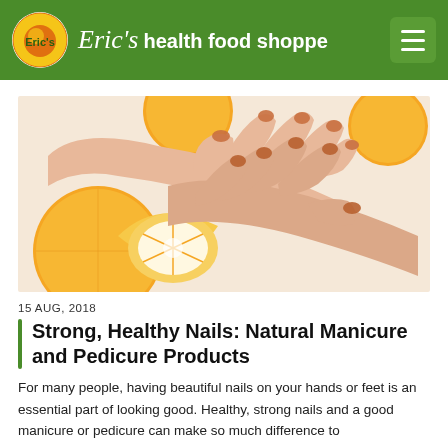Eric's health food shoppe
[Figure (photo): Close-up photo of hands with orange-painted nails resting on orange fruits (citrus), on a white background.]
15 AUG, 2018
Strong, Healthy Nails: Natural Manicure and Pedicure Products
For many people, having beautiful nails on your hands or feet is an essential part of looking good. Healthy, strong nails and a good manicure or pedicure can make so much difference to